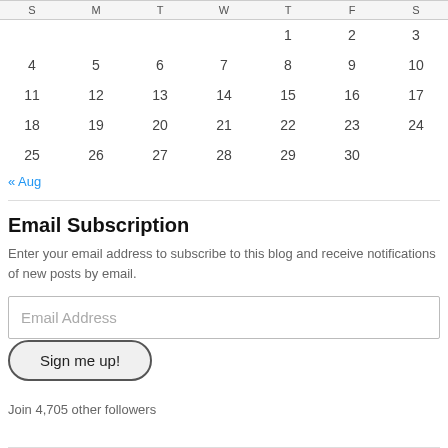| S | M | T | W | T | F | S |
| --- | --- | --- | --- | --- | --- | --- |
|  |  |  |  | 1 | 2 | 3 |
| 4 | 5 | 6 | 7 | 8 | 9 | 10 |
| 11 | 12 | 13 | 14 | 15 | 16 | 17 |
| 18 | 19 | 20 | 21 | 22 | 23 | 24 |
| 25 | 26 | 27 | 28 | 29 | 30 |  |
« Aug
Email Subscription
Enter your email address to subscribe to this blog and receive notifications of new posts by email.
Email Address
Sign me up!
Join 4,705 other followers